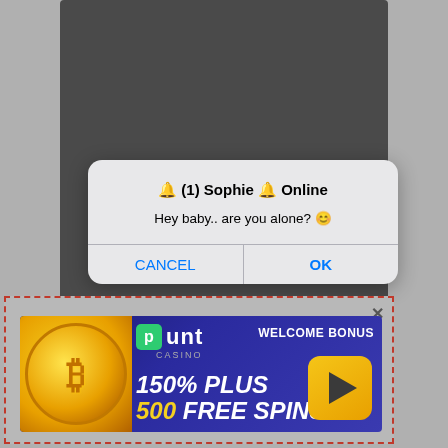[Figure (screenshot): Mobile browser screenshot showing a notification dialog and a casino advertisement banner. The dialog reads '(1) Sophie is Online' with message 'Hey baby.. are you alone?' and buttons CANCEL and OK. Below is a Punt Casino ad with '150% PLUS 500 FREE SPINS' welcome bonus offer. The ad section is outlined with a red dashed border indicating it is an advertisement.]